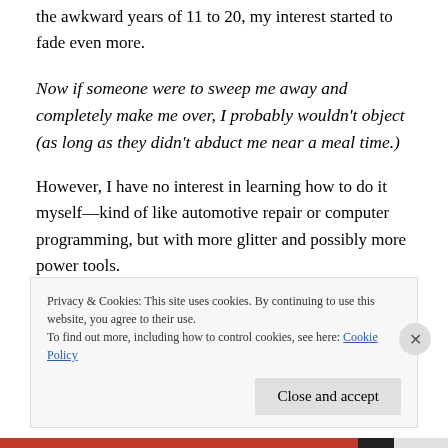the awkward years of 11 to 20, my interest started to fade even more.
Now if someone were to sweep me away and completely make me over, I probably wouldn't object (as long as they didn't abduct me near a meal time.)
However, I have no interest in learning how to do it myself—kind of like automotive repair or computer programming, but with more glitter and possibly more power tools.
(partial text obscured by cookie banner)
Privacy & Cookies: This site uses cookies. By continuing to use this website, you agree to their use.
To find out more, including how to control cookies, see here: Cookie Policy
Close and accept